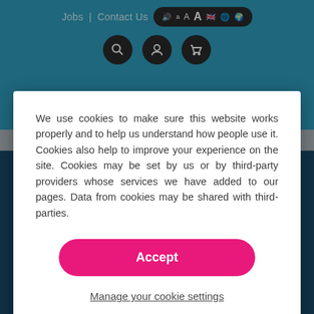Jobs  Contact Us  aAA 🔊 [language flags]
[Figure (screenshot): Website navigation bar with search, user, and cart icons on a teal background]
We use cookies to make sure this website works properly and to help us understand how people use it. Cookies also help to improve your experience on the site. Cookies may be set by us or by third-party providers whose services we have added to our pages. Data from cookies may be shared with third-parties.
Accept
Manage your cookie settings
7 June 2016
See the report >